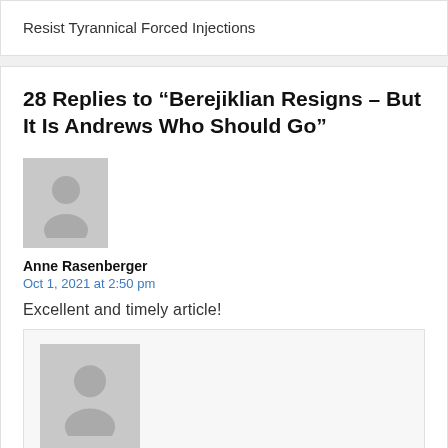Resist Tyrannical Forced Injections
28 Replies to “Berejiklian Resigns – But It Is Andrews Who Should Go”
[Figure (illustration): Generic user avatar placeholder image - grey square with silhouette of a person]
Anne Rasenberger
Oct 1, 2021 at 2:50 pm
Excellent and timely article!
[Figure (illustration): Generic user avatar placeholder image - grey square with silhouette of a person, slightly larger]